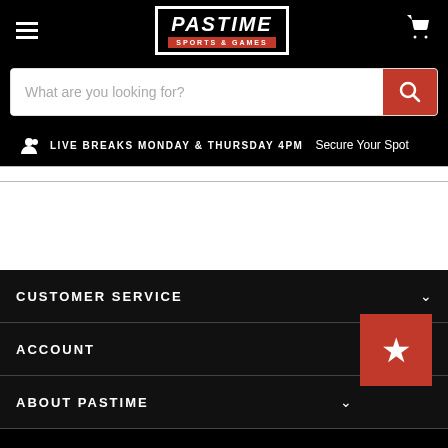Pastime Sports & Games - Navigation Header
[Figure (screenshot): Search bar with placeholder 'What are you looking for?' and red search button]
LIVE BREAKS MONDAY & THURSDAY 4PM  Secure Your Spot
CUSTOMER SERVICE
ACCOUNT
ABOUT PASTIME